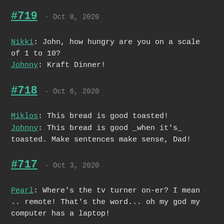#719 · Oct 8, 2020
Nikki: John, how hungry are you on a scale of 1 to 10?
Johnny: Kraft Dinner!
#718 · Oct 6, 2020
Miklos: This bread is good toasted!
Johnny: This bread is good _when it's_ toasted. Make sentences make sense, Dad!
#717 · Oct 3, 2020
Pearl: Where's the tv turner on-er? I mean .. remote! That's the word... oh my god my computer has a laptop!
#716 · Oct 1, 2020
Brett: Just had something hilarious happen